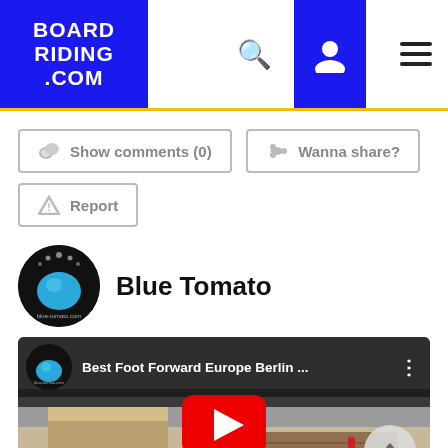BOARD RIDING .COM
Show comments (0)
Wanna share?
Report
Blue Tomato
[Figure (screenshot): YouTube video embed titled 'Best Foot Forward Europe Berlin ...' from the Blue Tomato channel, showing a skatepark scene with a skater on a stair rail. Red YouTube play button overlay in center. A scroll-up button appears bottom right.]